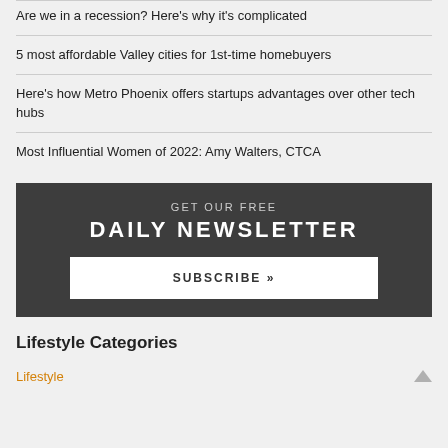Are we in a recession? Here's why it's complicated
5 most affordable Valley cities for 1st-time homebuyers
Here's how Metro Phoenix offers startups advantages over other tech hubs
Most Influential Women of 2022: Amy Walters, CTCA
GET OUR FREE DAILY NEWSLETTER SUBSCRIBE »
Lifestyle Categories
Lifestyle